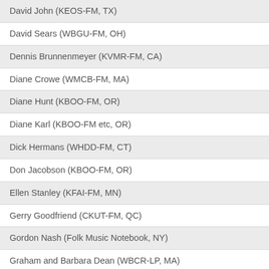David John (KEOS-FM, TX)
David Sears (WBGU-FM, OH)
Dennis Brunnenmeyer (KVMR-FM, CA)
Diane Crowe (WMCB-FM, MA)
Diane Hunt (KBOO-FM, OR)
Diane Karl (KBOO-FM etc, OR)
Dick Hermans (WHDD-FM, CT)
Don Jacobson (KBOO-FM, OR)
Ellen Stanley (KFAI-FM, MN)
Gerry Goodfriend (CKUT-FM, QC)
Gordon Nash (Folk Music Notebook, NY)
Graham and Barbara Dean (WBCR-LP, MA)
Greg Priddy (WJCU-FM, OH)
Greg Torrington (Stingray Music, QB)
Harlon Joye (WRFG-FM, GA)